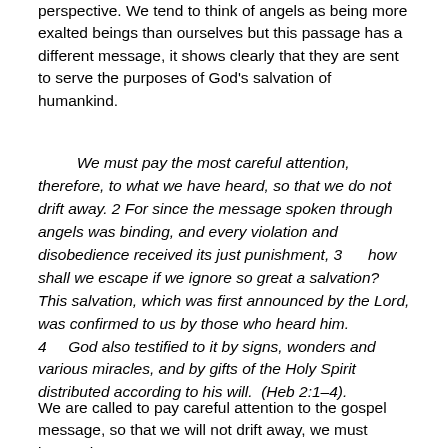perspective. We tend to think of angels as being more exalted beings than ourselves but this passage has a different message, it shows clearly that they are sent to serve the purposes of God's salvation of humankind.
We must pay the most careful attention, therefore, to what we have heard, so that we do not drift away. 2 For since the message spoken through angels was binding, and every violation and disobedience received its just punishment, 3      how shall we escape if we ignore so great a salvation? This salvation, which was first announced by the Lord, was confirmed to us by those who heard him. 4      God also testified to it by signs, wonders and various miracles, and by gifts of the Holy Spirit distributed according to his will.  (Heb 2:1–4).
We are called to pay careful attention to the gospel message, so that we will not drift away, we must ignore the